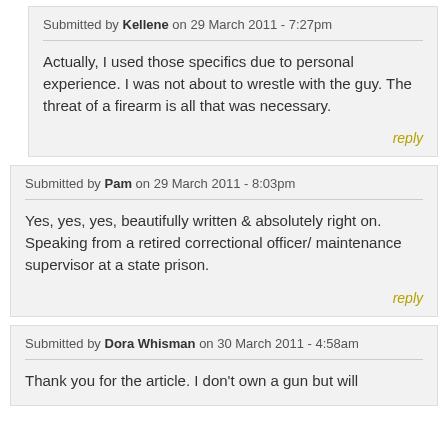Submitted by Kellene on 29 March 2011 - 7:27pm
Actually, I used those specifics due to personal experience. I was not about to wrestle with the guy. The threat of a firearm is all that was necessary.
reply
Submitted by Pam on 29 March 2011 - 8:03pm
Yes, yes, yes, beautifully written & absolutely right on. Speaking from a retired correctional officer/ maintenance supervisor at a state prison.
reply
Submitted by Dora Whisman on 30 March 2011 - 4:58am
Thank you for the article. I don't own a gun but will